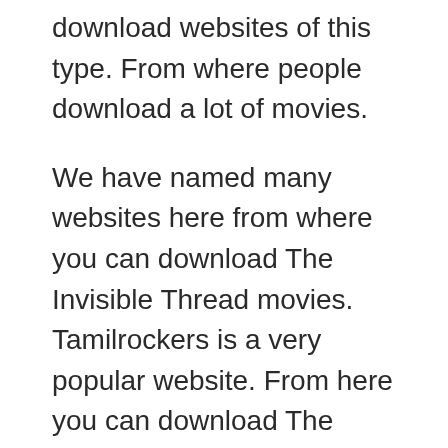download websites of this type. From where people download a lot of movies.
We have named many websites here from where you can download The Invisible Thread movies. Tamilrockers is a very popular website. From here you can download The Invisible Thread movie absolutely for free. The Invisible Thread Movie Download Tamilrockers. FilmyWap is also very popular. The latest movie can also be seen from here. The Invisible Thread FilmyWap 480p, 720p, 1080p, HD Movie. Also known as South Movie in many countries. Even in India it is called South Movie. In this